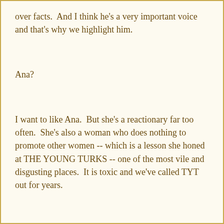over facts.  And I think he's a very important voice and that's why we highlight him.
Ana?
I want to like Ana.  But she's a reactionary far too often.  She's also a woman who does nothing to promote other women -- which is a lesson she honed at THE YOUNG TURKS -- one of the most vile and disgusting places.  It is toxic and we've called TYT out for years.
Ana's now doing work with JACOBIN.  Her weekend co-host died.  Did you notice what happened after?  She got a new co-host.